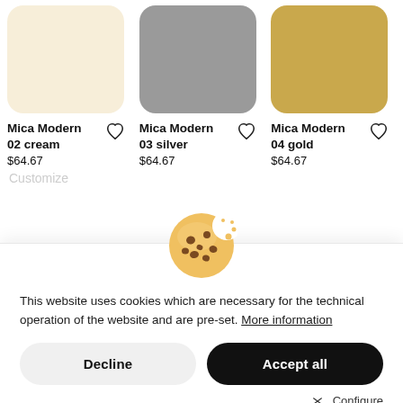[Figure (illustration): Color swatch thumbnail for Mica Modern 02 cream - rounded rectangle filled with cream/off-white color]
Mica Modern 02 cream
$64.67
[Figure (illustration): Color swatch thumbnail for Mica Modern 03 silver - rounded rectangle filled with medium gray color]
Mica Modern 03 silver
$64.67
[Figure (illustration): Color swatch thumbnail for Mica Modern 04 gold - rounded rectangle filled with golden/tan color]
Mica Modern 04 gold
$64.67
[Figure (illustration): Cookie emoji icon - chocolate chip cookie illustration]
This website uses cookies which are necessary for the technical operation of the website and are pre-set. More information
Decline
Accept all
Configure